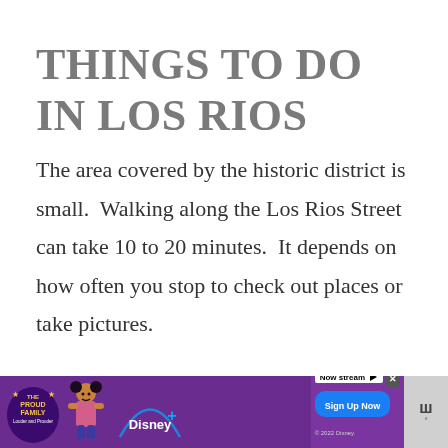THINGS TO DO IN LOS RIOS
The area covered by the historic district is small.  Walking along the Los Rios Street can take 10 to 20 minutes.  It depends on how often you stop to check out places or take pictures.
[Figure (other): Disney+ advertisement banner at the bottom of the page featuring The Proud Family: Louder and Prouder promotion with 'Now Streaming' and 'Sign Up Now' call to action]